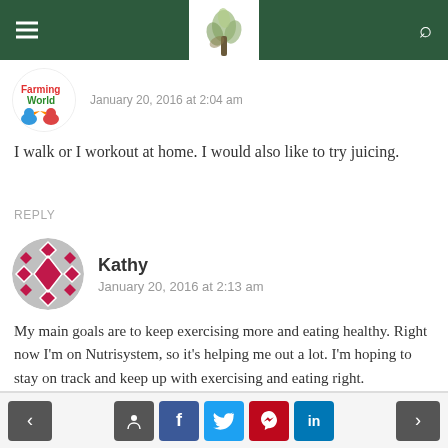Navigation header with logo
January 20, 2016 at 2:04 am
I walk or I workout at home. I would also like to try juicing.
REPLY
Kathy
January 20, 2016 at 2:13 am
My main goals are to keep exercising more and eating healthy. Right now I'm on Nutrisystem, so it's helping me out a lot. I'm hoping to stay on track and keep up with exercising and eating right.
Navigation and social share buttons